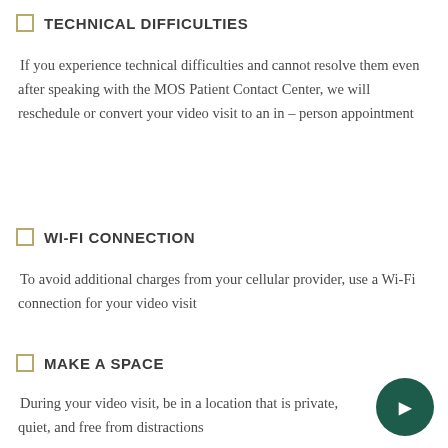TECHNICAL DIFFICULTIES
If you experience technical difficulties and cannot resolve them even after speaking with the MOS Patient Contact Center, we will reschedule or convert your video visit to an in – person appointment
WI-FI CONNECTION
To avoid additional charges from your cellular provider, use a Wi-Fi connection for your video visit
MAKE A SPACE
During your video visit, be in a location that is private, quiet, and free from distractions